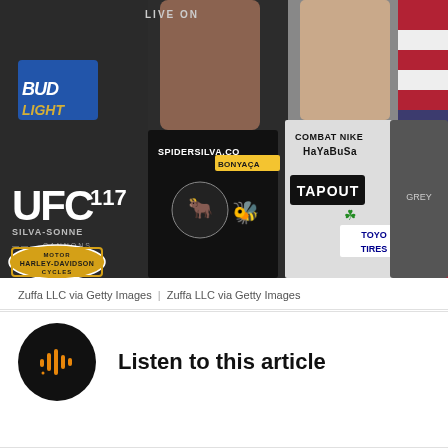[Figure (photo): UFC 117 weigh-in photo showing two fighters (Anderson Silva and Chael Sonnen) face to face, shirtless, in their fight shorts. Left fighter wears black Spidersilva.com/Bonyaça shorts with Team Nogueira logo. Right fighter wears white Tapout/Hayabusa/Toyo Tires shorts. UFC 117 banner and Harley-Davidson/Bud Light logos visible in background.]
Zuffa LLC via Getty Images  |  Zuffa LLC via Getty Images
[Figure (other): Audio player button - circular dark button with orange sound wave / play icon]
Listen to this article